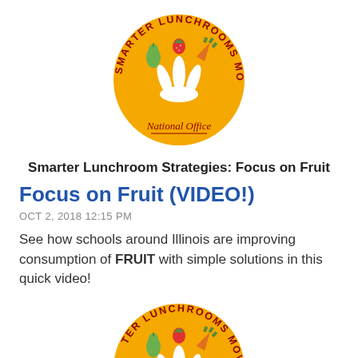[Figure (logo): Smarter Lunchrooms Movement National Office circular logo with orange background, white raised hands, pear, strawberry, and carrot icons, dark red text around the circle, and cursive 'National Office' text at the bottom]
Smarter Lunchroom Strategies: Focus on Fruit
Focus on Fruit (VIDEO!)
OCT 2, 2018 12:15 PM
See how schools around Illinois are improving consumption of FRUIT with simple solutions in this quick video!
[Figure (logo): Smarter Lunchrooms Movement logo partially cropped at the bottom of the page, showing the top arc text and orange circle with fruit and hand icons]